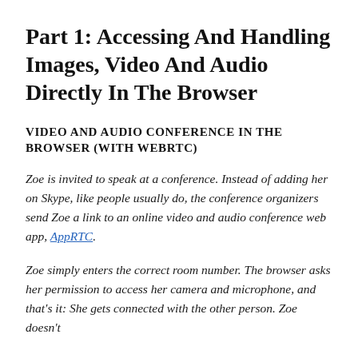Part 1: Accessing And Handling Images, Video And Audio Directly In The Browser
VIDEO AND AUDIO CONFERENCE IN THE BROWSER (WITH WEBRTC)
Zoe is invited to speak at a conference. Instead of adding her on Skype, like people usually do, the conference organizers send Zoe a link to an online video and audio conference web app, AppRTC.
Zoe simply enters the correct room number. The browser asks her permission to access her camera and microphone, and that's it: She gets connected with the other person. Zoe doesn't